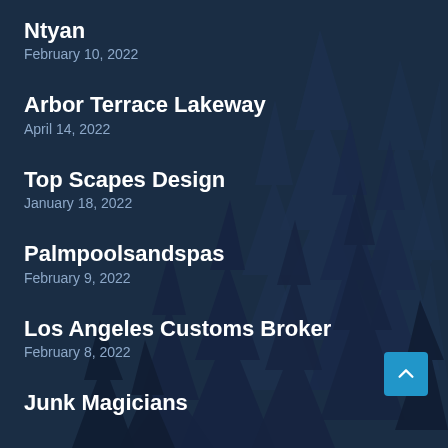[Figure (illustration): Dark navy blue background with silhouettes of pine/fir trees in a misty forest, creating a layered depth effect with darker and lighter blue tones]
Ntyan
February 10, 2022
Arbor Terrace Lakeway
April 14, 2022
Top Scapes Design
January 18, 2022
Palmpoolsandspas
February 9, 2022
Los Angeles Customs Broker
February 8, 2022
Junk Magicians